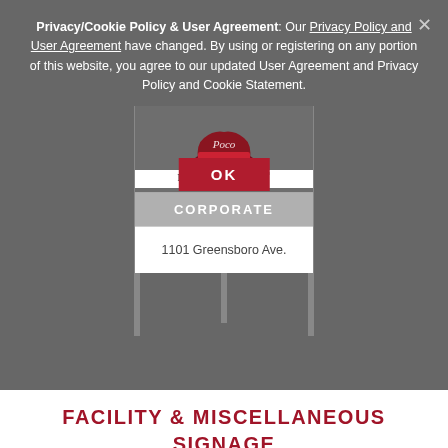Privacy/Cookie Policy & User Agreement: Our Privacy Policy and User Agreement have changed. By using or registering on any portion of this website, you agree to our updated User Agreement and Privacy Policy and Cookie Statement.
[Figure (screenshot): A corporate signage display showing a Poco logo with chef hat, 'First [OK button] Menu' text, a gray 'CORPORATE' bar, and address '1101 Greensboro Ave.' with an OK button overlay in red.]
FACILITY & MISCELLANEOUS SIGNAGE
Commercial printing and manufacturing files with the Tuscaloosa Processing Operations address and/or placeholder text included. Sign designs, following the brand guidelines are based on the